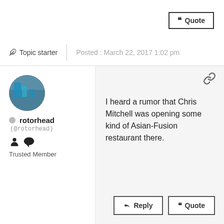Quote
Topic starter  |  Posted : March 22, 2017 1:02 pm
rotorhead
(@rotorhead)
Trusted Member
I heard a rumor that Chris Mitchell was opening some kind of Asian-Fusion restaurant there.
Reply   Quote